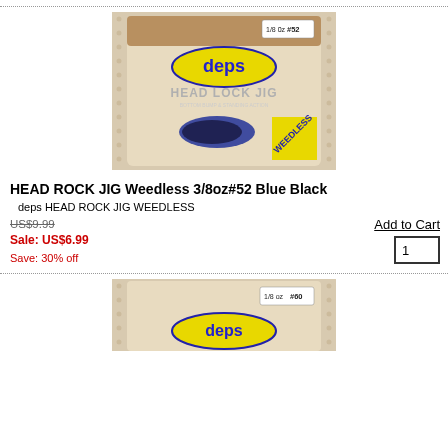[Figure (photo): Product photo of deps HEAD LOCK JIG WEEDLESS 3/8oz #52 Blue Black fishing lure in packaging]
HEAD ROCK JIG Weedless 3/8oz#52 Blue Black
deps HEAD ROCK JIG WEEDLESS
US$9.99
Sale: US$6.99
Save: 30% off
Add to Cart
1
[Figure (photo): Partial product photo of deps HEAD ROCK JIG WEEDLESS fishing lure in packaging, cropped at bottom]